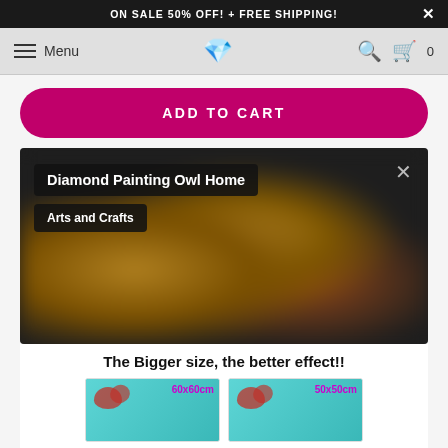ON SALE 50% OFF! + FREE SHIPPING!
[Figure (screenshot): E-commerce website nav bar with hamburger menu, Menu text, diamond logo, search icon, and cart icon with 0 items]
ADD TO CART
[Figure (photo): Blurred dark background with owl eyes visible. Overlay shows product title 'Diamond Painting Owl Home' and category 'Arts and Crafts'. Close button (X) in top right corner.]
The Bigger size, the better effect!!
[Figure (photo): Two side-by-side size comparison images of a diamond painting showing a woman's face with red flowers on a teal background. Left image labeled 60x60cm, right image labeled 50x50cm.]